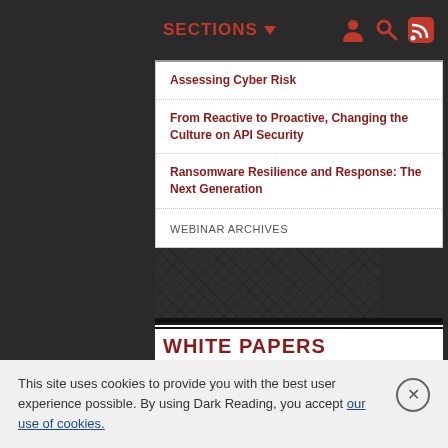SECTIONS ▼
Assessing Cyber Risk
From Reactive to Proactive, Changing the Culture on API Security
Ransomware Resilience and Response: The Next Generation
WEBINAR ARCHIVES
WHITE PAPERS
The Burnout Breach: How employee burnout is emerging as the next frontier in cybersecurity
2021 Banking and Financial Services Industry Cyber Threat Landscape Report
Business Buyers Guide to Password
This site uses cookies to provide you with the best user experience possible. By using Dark Reading, you accept our use of cookies.